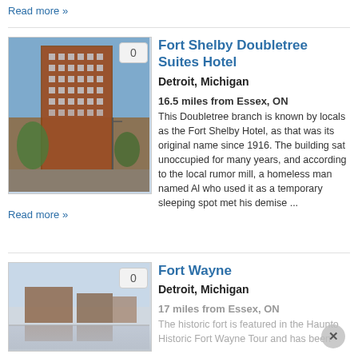Read more »
[Figure (photo): Photo of Fort Shelby Doubletree Suites Hotel building exterior, a tall brick multi-story building against blue sky with trees visible]
Fort Shelby Doubletree Suites Hotel
Detroit, Michigan
16.5 miles from Essex, ON
This Doubletree branch is known by locals as the Fort Shelby Hotel, as that was its original name since 1916. The building sat unoccupied for many years, and according to the local rumor mill, a homeless man named Al who used it as a temporary sleeping spot met his demise ...
Read more »
[Figure (photo): Photo of Fort Wayne exterior, a historic fort building with reflection visible, partially obscured]
Fort Wayne
Detroit, Michigan
17 miles from Essex, ON
The historic fort is featured in the Haunto Historic Fort Wayne Tour and has been